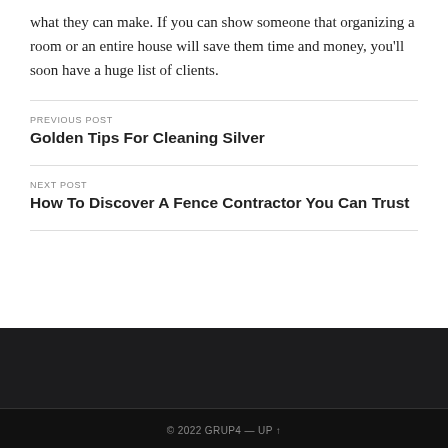what they can make. If you can show someone that organizing a room or an entire house will save them time and money, you'll soon have a huge list of clients.
PREVIOUS POST
Golden Tips For Cleaning Silver
NEXT POST
How To Discover A Fence Contractor You Can Trust
© 2022 GRUP4 — UP ↑